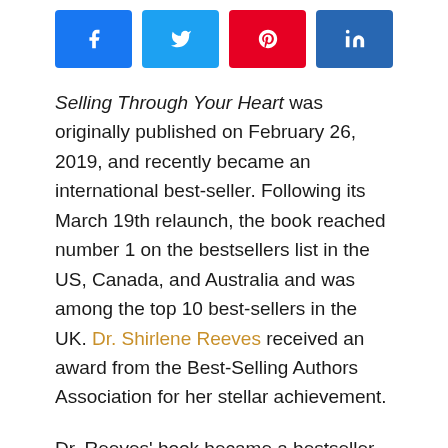[Figure (other): Social media share buttons: Facebook (blue), Twitter (light blue), Pinterest (red), LinkedIn (dark blue)]
Selling Through Your Heart was originally published on February 26, 2019, and recently became an international best-seller. Following its March 19th relaunch, the book reached number 1 on the bestsellers list in the US, Canada, and Australia and was among the top 10 best-sellers in the UK. Dr. Shirlene Reeves received an award from the Best-Selling Authors Association for her stellar achievement.
Dr. Reeves' book became a bestseller in the categories of “Sales and Selling,” “Consumer Behavior,” “Business Consulting,” and “Business & Money.” In this book—a comprehensive, step-by-step guide designed exclusively for businesspeople, salespersons, and entrepreneurs—readers discover how to develop an abundant mindset, effectively communicate with